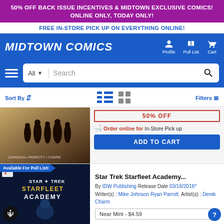50% OFF BACK ISSUE INCENTIVES & MIDTOWN EXCLUSIVE COMICS! ONLINE ONLY, TODAY ONLY!
FREE IN-STORE PICK UP ON EVERYTHING ONLINE!
[Figure (logo): Midtown Comics logo with navigation icons: Profile, Pull List, Cart]
[Figure (screenshot): Search bar with All category dropdown and search icon]
Sort By | view toggle icons | Filters
[Figure (photo): Comic book cover thumbnail - silhouettes of figures]
50% OFF
Order online for In-Store Pick up
ADD TO CART
Available For Pull List!
[Figure (photo): Star Trek Starfleet Academy comic book cover]
Star Trek Starfleet Academy...
By IDW Publishing Release Date 03/16/2016* Writer(s) : Mike Johnson Ryan Parrott Artist(s) : Derek Charm
Near Mint - $4.59